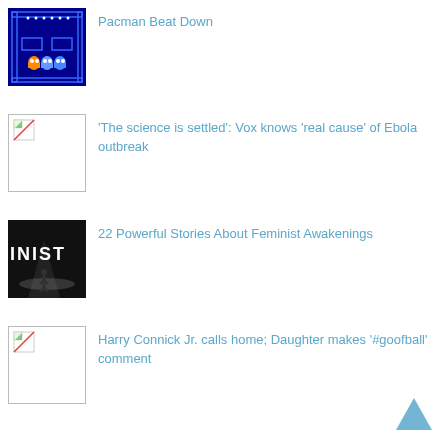[Figure (photo): Pac-Man video game screenshot with ghosts and blue maze]
Pacman Beat Down
[Figure (photo): Broken image placeholder icon]
‘The science is settled’: Vox knows ‘real cause’ of Ebola outbreak
[Figure (photo): Dark concert scene with text INIST (partial FEMINIST)]
22 Powerful Stories About Feminist Awakenings
[Figure (photo): Broken image placeholder icon]
Harry Connick Jr. calls home; Daughter makes ‘#goofball’ comment